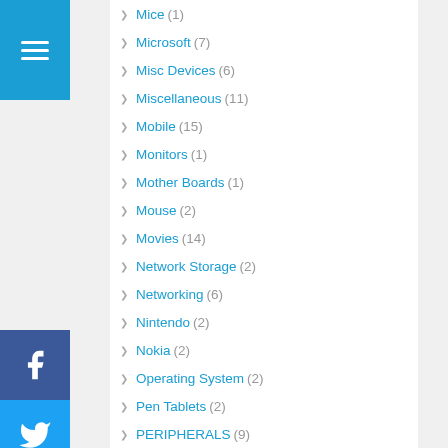Mice (1)
Microsoft (7)
Misc Devices (6)
Miscellaneous (11)
Mobile (15)
Monitors (1)
Mother Boards (1)
Mouse (2)
Movies (14)
Network Storage (2)
Networking (6)
Nintendo (2)
Nokia (2)
Operating System (2)
Pen Tablets (2)
PERIPHERALS (9)
Personal Technology (8)
Photography (7)
Pinterest (1)